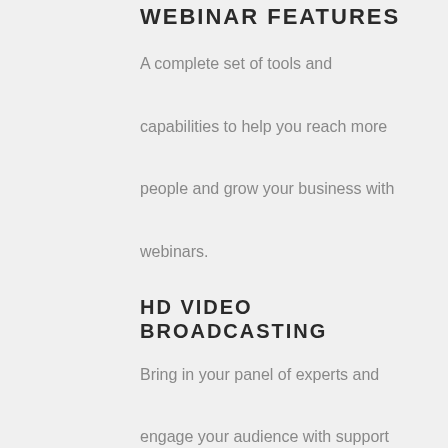WEBINAR FEATURES
A complete set of tools and capabilities to help you reach more people and grow your business with webinars.
HD VIDEO BROADCASTING
Bring in your panel of experts and engage your audience with support for up to 12 presenters on video at any given time.
HOST CONTROLS
As the webinar host, you have full